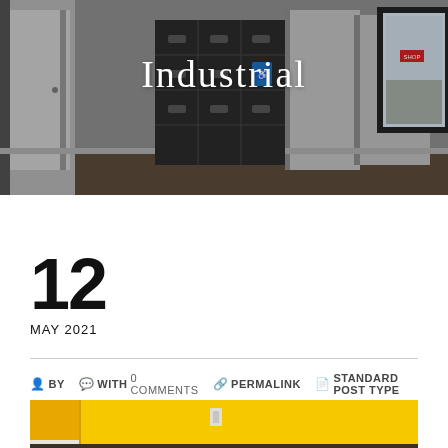[Figure (photo): Interior photo showing gray locker room or storage area with metal lockers, open doors on left and right, and a window on the far right with a parking lot visible outside. A blue accessibility sign is visible in the center.]
Industrial
12
MAY 2021
BY  WITH 0 COMMENTS  PERMALINK  STANDARD POST TYPE
[Figure (photo): Interior corner of a room with bright yellow painted walls and dark wood-look flooring, showing a corner junction of walls and a light switch plate.]